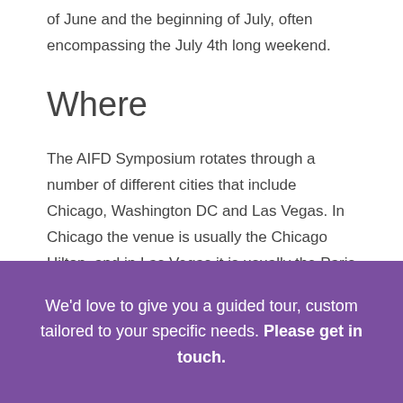of June and the beginning of July, often encompassing the July 4th long weekend.
Where
The AIFD Symposium rotates through a number of different cities that include Chicago, Washington DC and Las Vegas. In Chicago the venue is usually the Chicago Hilton, and in Las Vegas it is usually the Paris Las Vegas Hotel and Casion. Other cities have included Anaheim & Orange County in
We'd love to give you a guided tour, custom tailored to your specific needs. Please get in touch.